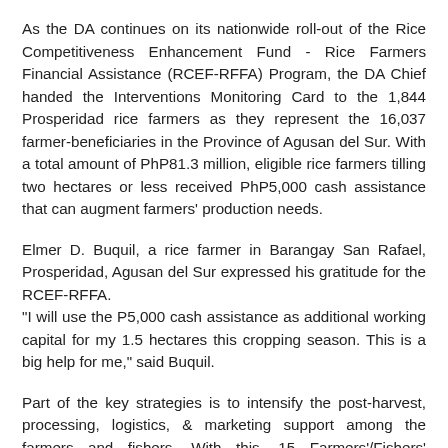As the DA continues on its nationwide roll-out of the Rice Competitiveness Enhancement Fund - Rice Farmers Financial Assistance (RCEF-RFFA) Program, the DA Chief handed the Interventions Monitoring Card to the 1,844 Prosperidad rice farmers as they represent the 16,037 farmer-beneficiaries in the Province of Agusan del Sur. With a total amount of PhP81.3 million, eligible rice farmers tilling two hectares or less received PhP5,000 cash assistance that can augment farmers' production needs.
Elmer D. Buquil, a rice farmer in Barangay San Rafael, Prosperidad, Agusan del Sur expressed his gratitude for the RCEF-RFFA. "I will use the P5,000 cash assistance as additional working capital for my 1.5 hectares this cropping season. This is a big help for me," said Buquil.
Part of the key strategies is to intensify the post-harvest, processing, logistics, & marketing support among the farmers and fishers. With this, 15 Farmers'/Fishers' Cooperative and Association (FCA) was granted a working